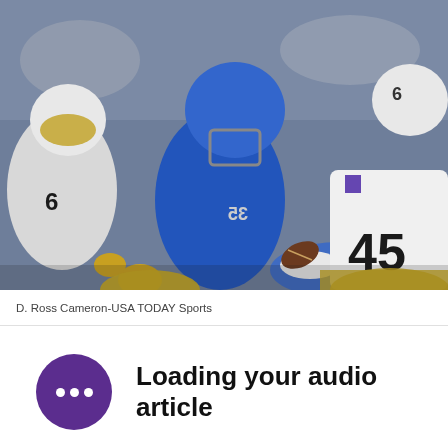[Figure (photo): Football action photo showing a player in blue San Jose State uniform being tackled by multiple Wyoming players in white and gold uniforms during a college football game.]
D. Ross Cameron-USA TODAY Sports
Loading your audio article